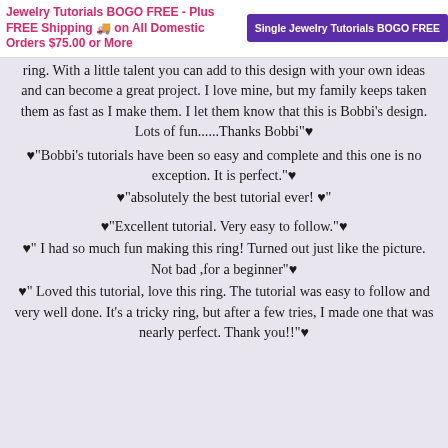Jewelry Tutorials BOGO FREE - Plus FREE Shipping 🚚 on All Domestic Orders $75.00 or More | Single Jewelry Tutorials BOGO FREE
ring. With a little talent you can add to this design with your own ideas and can become a great project. I love mine, but my family keeps taken them as fast as I make them. I let them know that this is Bobbi's design. Lots of fun......Thanks Bobbi"♥
♥"Bobbi's tutorials have been so easy and complete and this one is no exception. It is perfect."♥
♥"absolutely the best tutorial ever! ♥"
♥"Excellent tutorial. Very easy to follow."♥
♥" I had so much fun making this ring! Turned out just like the picture. Not bad ,for a beginner"♥
♥" Loved this tutorial, love this ring. The tutorial was easy to follow and very well done. It's a tricky ring, but after a few tries, I made one that was nearly perfect. Thank you!!"♥